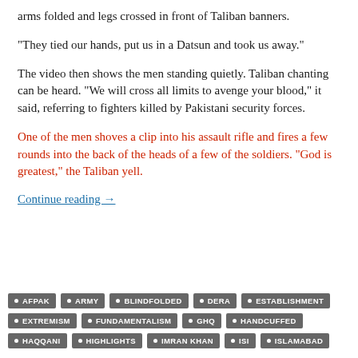arms folded and legs crossed in front of Taliban banners.
“They tied our hands, put us in a Datsun and took us away.”
The video then shows the men standing quietly. Taliban chanting can be heard. “We will cross all limits to avenge your blood,” it said, referring to fighters killed by Pakistani security forces.
One of the men shoves a clip into his assault rifle and fires a few rounds into the back of the heads of a few of the soldiers. “God is greatest,” the Taliban yell.
Continue reading →
AFPAK
ARMY
BLINDFOLDED
DERA
ESTABLISHMENT
EXTREMISM
FUNDAMENTALISM
GHQ
HANDCUFFED
HAQQANI
HIGHLIGHTS
IMRAN KHAN
ISI
ISLAMABAD